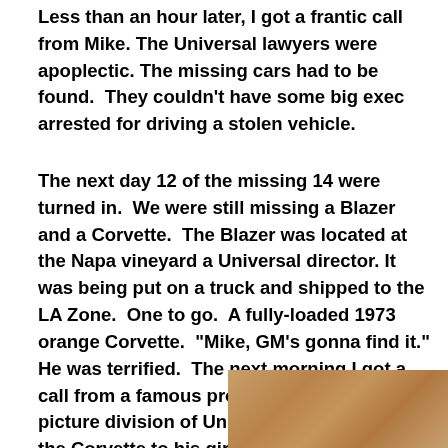Less than an hour later, I got a frantic call from Mike. The Universal lawyers were apoplectic. The missing cars had to be found. They couldn't have some big exec arrested for driving a stolen vehicle.
The next day 12 of the missing 14 were turned in. We were still missing a Blazer and a Corvette. The Blazer was located at the Napa vineyard a Universal director. It was being put on a truck and shipped to the LA Zone. One to go. A fully-loaded 1973 orange Corvette. "Mike, GM's gonna find it." He was terrified. The next morning I got a call from a famous producer with the motion picture division of Universal. He had given the Corvette to his girlfriend as a "gift." He explained that he couldn't give it
[Figure (photo): Partial photo of a wooden surface or object with a warm brown/tan color, visible wood grain texture]